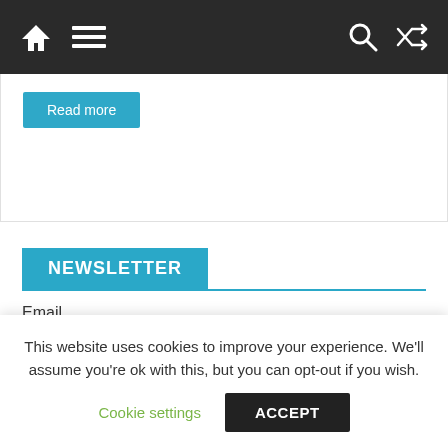Navigation bar with home icon, menu icon, search icon, shuffle icon
Read more
NEWSLETTER
Email
Nome
This website uses cookies to improve your experience. We'll assume you're ok with this, but you can opt-out if you wish.
Cookie settings
ACCEPT